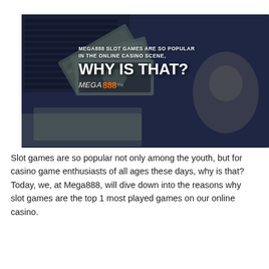[Figure (photo): Promotional banner image showing casino money (US dollar bills) and a keyboard in the background with dark blue overlay. White bold text reads 'MEGA888 SLOT GAMES ARE SO POPULAR IN THE ONLINE CASINO SCENE, WHY IS THAT?' with the Mega888 logo below.]
Slot games are so popular not only among the youth, but for casino game enthusiasts of all ages these days, why is that? Today, we, at Mega888, will dive down into the reasons why slot games are the top 1 most played games on our online casino.